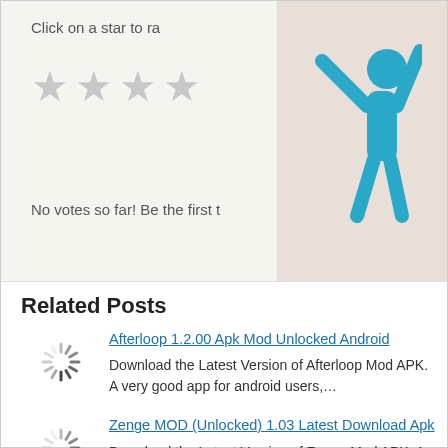Click on a star to ra
[Figure (other): Four gray star rating icons]
No votes so far! Be the first t
[Figure (illustration): Blue stick figure person with arms raised, on beige background]
Related Posts
[Figure (other): Loading spinner icon for first related post]
Afterloop 1.2.00 Apk Mod Unlocked Android
Download the Latest Version of Afterloop Mod APK. A very good app for android users,…
[Figure (other): Loading spinner icon for second related post]
Zenge MOD (Unlocked) 1.03 Latest Download Apk
Download the Latest Version of Zenge Mod APK. A very good app for android users,…